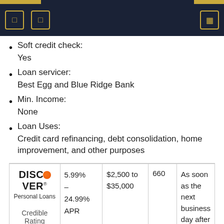Soft credit check: Yes
Loan servicer: Best Egg and Blue Ridge Bank
Min. Income: None
Loan Uses: Credit card refinancing, debt consolidation, home improvement, and other purposes
| Lender | APR | Loan Amount | Min. Credit Score | Funding Time |
| --- | --- | --- | --- | --- |
| DISCOVER Personal Loans / Credible Rating | 5.99% – 24.99% APR | $2,500 to $35,000 | 660 | As soon as the next business day after acceptance |